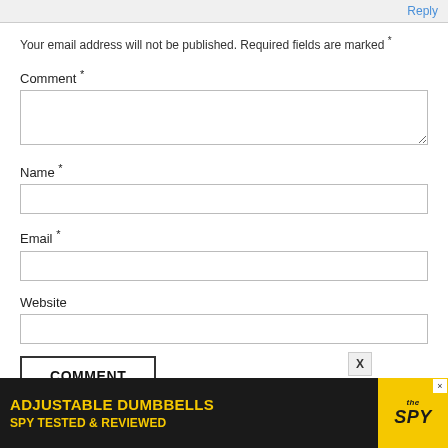Reply
Your email address will not be published. Required fields are marked *
Comment *
Name *
Email *
Website
COMMENT
[Figure (screenshot): Advertisement banner: ADJUSTABLE DUMBBELLS / SPY TESTED & REVIEWED with SPY logo on yellow background]